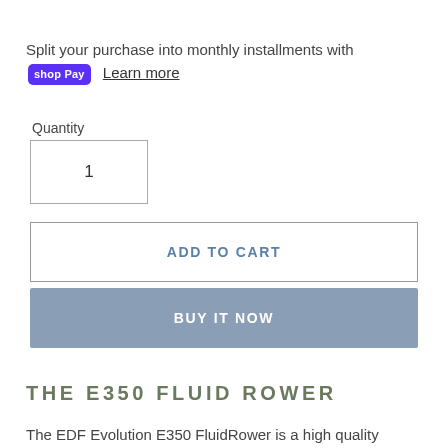Split your purchase into monthly installments with shop Pay Learn more
Quantity
1
ADD TO CART
BUY IT NOW
THE E350 FLUID ROWER
The EDF Evolution E350 FluidRower is a high quality